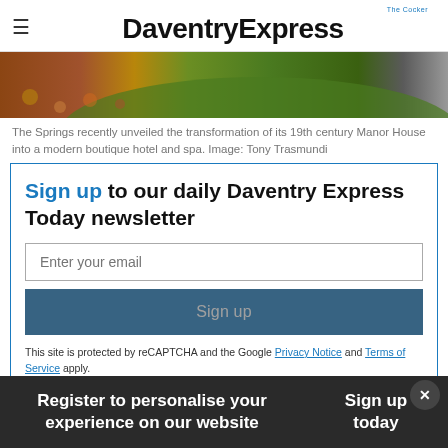DaventryExpress
[Figure (photo): Aerial or ground-level photo showing autumn leaves on ground and green grassy mound, with a road visible on the right side.]
The Springs recently unveiled the transformation of its 19th century Manor House into a modern boutique hotel and spa. Image: Tony Trasmundi
Sign up to our daily Daventry Express Today newsletter
Enter your email
Sign up
This site is protected by reCAPTCHA and the Google Privacy Notice and Terms of Service apply.
Register to personalise your experience on our website
Sign up today